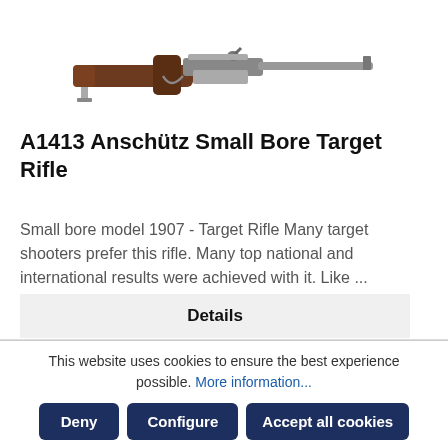[Figure (photo): Anschütz small bore target rifle viewed from the side, showing brown wooden stock and metal barrel/action]
A1413 Anschütz Small Bore Target Rifle
Small bore model 1907 - Target Rifle Many target shooters prefer this rifle. Many top national and international results were achieved with it. Like ...
Details
This website uses cookies to ensure the best experience possible. More information...
Deny
Configure
Accept all cookies